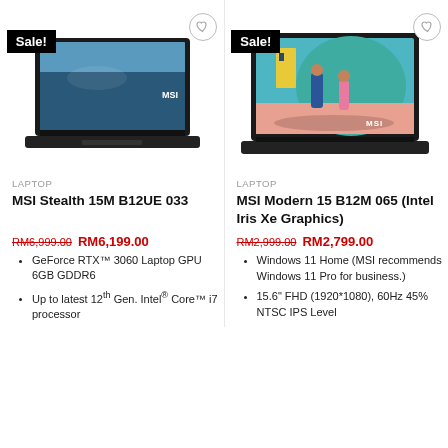[Figure (photo): MSI Stealth 15M B12UE 033 laptop product image with Sale! badge and wishlist button]
LAPTOP
MSI Stealth 15M B12UE 033
RM6,999.00  RM6,199.00
GeForce RTX™ 3060 Laptop GPU 6GB GDDR6
Up to latest 12th Gen. Intel® Core™ i7 processor
[Figure (photo): MSI Modern 15 B12M 065 laptop product image with Sale! badge and wishlist button]
LAPTOP
MSI Modern 15 B12M 065 (Intel Iris Xe Graphics)
RM2,999.00  RM2,799.00
Windows 11 Home (MSI recommends Windows 11 Pro for business.)
15.6" FHD (1920*1080), 60Hz 45% NTSC IPS Level